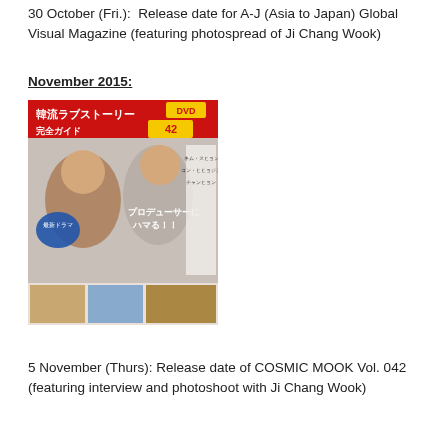30 October (Fri.):  Release date for A-J (Asia to Japan) Global Visual Magazine (featuring photospread of Ji Chang Wook)
November 2015:
[Figure (photo): Cover of COSMIC MOOK Vol. 042 (韓流ラブストーリー完全ガイド), a Japanese Korean drama magazine featuring two actors on the cover with Japanese text.]
5 November (Thurs): Release date of COSMIC MOOK Vol. 042 (featuring interview and photoshoot with Ji Chang Wook)